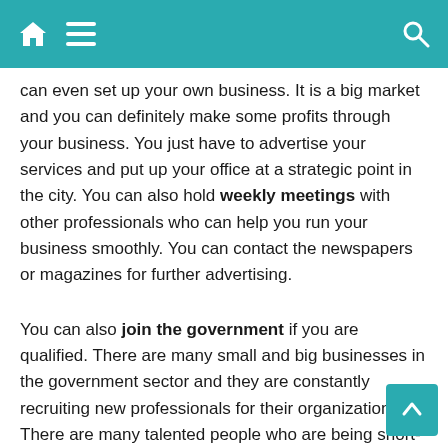[header bar with home, menu, and search icons]
can even set up your own business. It is a big market and you can definitely make some profits through your business. You just have to advertise your services and put up your office at a strategic point in the city. You can also hold weekly meetings with other professionals who can help you run your business smoothly. You can contact the newspapers or magazines for further advertising.
You can also join the government if you are qualified. There are many small and big businesses in the government sector and they are constantly recruiting new professionals for their organization. There are many talented people who are being short-listed by the government. Those who have good knowledge of computers and excellent communication skills can easily join government organizations. Once you are recruited, you just have to wait for a better opportunity.